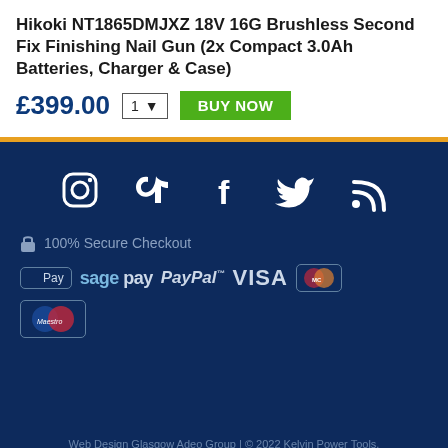Hikoki NT1865DMJXZ 18V 16G Brushless Second Fix Finishing Nail Gun (2x Compact 3.0Ah Batteries, Charger & Case)
£399.00
[Figure (infographic): Social media icons: Instagram, TikTok, Facebook, Twitter, RSS feed — white icons on dark navy background]
🔒 100% Secure Checkout
[Figure (infographic): Payment method logos: Apple Pay, Sage Pay, PayPal, VISA, Mastercard, Maestro — on dark navy background]
Web Design Glasgow Adeo Group | © 2022 Kelvin Power Tools.